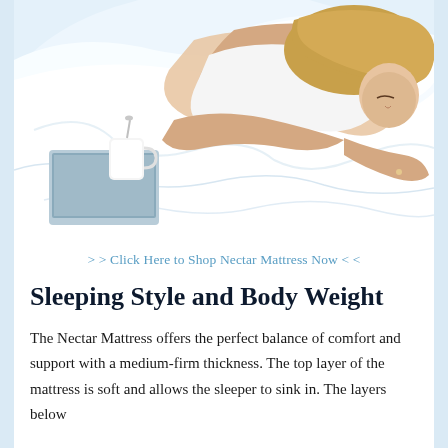[Figure (photo): A woman with blonde hair sleeping on a white bed with white sheets and pillows. A laptop and white mug are visible on the bed beside her. Top-down view.]
> > Click Here to Shop Nectar Mattress Now < <
Sleeping Style and Body Weight
The Nectar Mattress offers the perfect balance of comfort and support with a medium-firm thickness. The top layer of the mattress is soft and allows the sleeper to sink in. The layers below